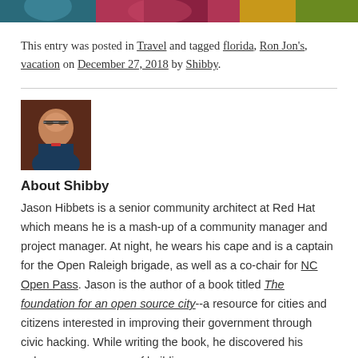[Figure (photo): Top portion of a photo showing colorful background with partial view of people]
This entry was posted in Travel and tagged florida, Ron Jon's, vacation on December 27, 2018 by Shibby.
[Figure (photo): Headshot of Jason Hibbets, a man with glasses and short dark hair against a dark reddish-brown background]
About Shibby
Jason Hibbets is a senior community architect at Red Hat which means he is a mash-up of a community manager and project manager. At night, he wears his cape and is a captain for the Open Raleigh brigade, as well as a co-chair for NC Open Pass. Jason is the author of a book titled The foundation for an open source city--a resource for cities and citizens interested in improving their government through civic hacking. While writing the book, he discovered his unknown superpower of building